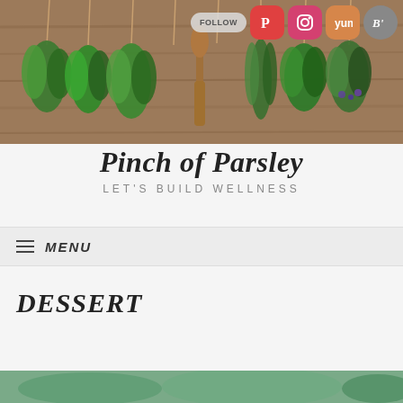[Figure (photo): Banner photo of various fresh herb bundles hanging from a wooden rack — basil, parsley, rosemary, thyme, and others with a wooden fork/spoon utensil in the center. Social media icons (Pinterest, Instagram, Yummly, Bloglovin) and a FOLLOW button overlay the top-right corner.]
Pinch of Parsley
LET'S BUILD WELLNESS
MENU
DESSERT
[Figure (photo): Partial bottom strip of a food/dessert photograph — green tones visible at page bottom.]